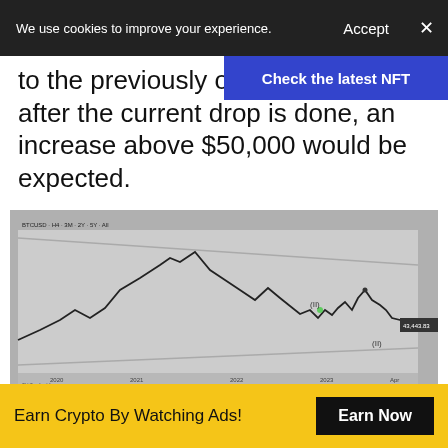We use cookies to improve your experience.  Accept  ×
Check the latest NFT
to the previously outlined levels. After the current drop is done, an increase above $50,000 would be expected.
[Figure (continuous-plot): Bitcoin price chart from TradingView showing a large peak followed by a decline and wave patterns labeled (II) and (II), with channel lines drawn on the chart. The price appears to have peaked around 60000-65000 and is now near lower levels. Candlestick/line chart on grey background.]
Chart By TradingView
Conclusion
Earn Crypto By Watching Ads!  Earn Now